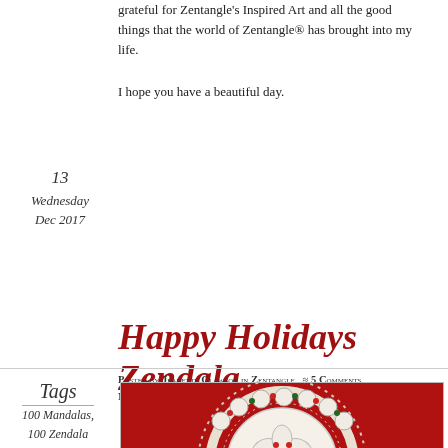grateful for Zentangle's Inspired Art and all the good things that the world of Zentangle® has brought into my life.
I hope you have a beautiful day.
Happy Holidays Zendala
13
Wednesday
Dec 2017
Posted by Jeanette Clawson in Zentangle   ≈ 5 Comments Method Class
Tags
100 Mandalas,
100 Zendala
[Figure (photo): A circular mandala/zendala artwork on a dark red background, featuring intricate white patterns with small green and red decorative elements arranged in concentric circles.]